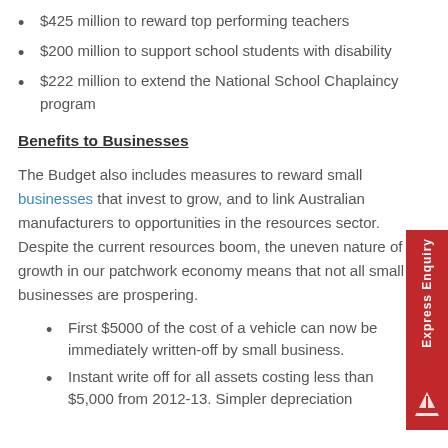$425 million to reward top performing teachers
$200 million to support school students with disability
$222 million to extend the National School Chaplaincy program
Benefits to Businesses
The Budget also includes measures to reward small businesses that invest to grow, and to link Australian manufacturers to opportunities in the resources sector. Despite the current resources boom, the uneven nature of growth in our patchwork economy means that not all small businesses are prospering.
First $5000 of the cost of a vehicle can now be immediately written-off by small business.
Instant write off for all assets costing less than $5,000 from 2012-13. Simpler depreciation